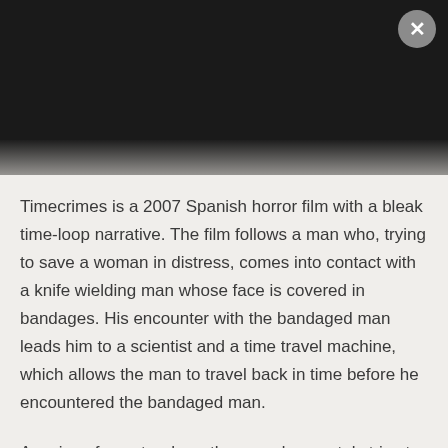[Figure (photo): Dark, nearly black film still from Timecrimes — a darkened scene, very low light]
Timecrimes is a 2007 Spanish horror film with a bleak time-loop narrative. The film follows a man who, trying to save a woman in distress, comes into contact with a knife wielding man whose face is covered in bandages. His encounter with the bandaged man leads him to a scientist and a time travel machine, which allows the man to travel back in time before he encountered the bandaged man.

A series of events where the man desperately tries to stop the events happening again leads to the discovery that the bandaged man is in fact himself from the future. The film certainly plays with the mind and offers a fresh take on the genre. Director Nacho Vigalondo cleverly creates a twisted thriller using time travel as a